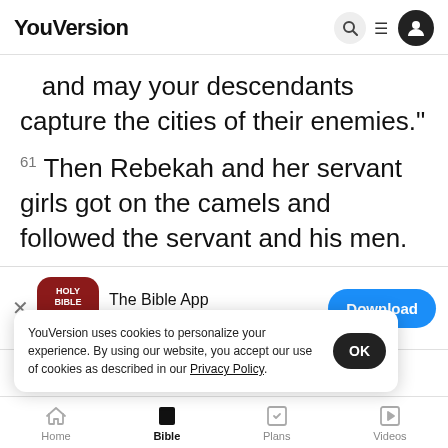YouVersion
and may your descendants capture the cities of their enemies."
61 Then Rebekah and her servant girls got on the camels and followed the servant and his men.
[Figure (screenshot): The Bible App download banner with app icon, 5-star rating 7.9M, and Download button]
w... ...ving in southern Canaan. 63 One eveni...
when h...
YouVersion uses cookies to personalize your experience. By using our website, you accept our use of cookies as described in our Privacy Policy.
and saw camels coming.    Rebekah also looked
Home  Bible  Plans  Videos